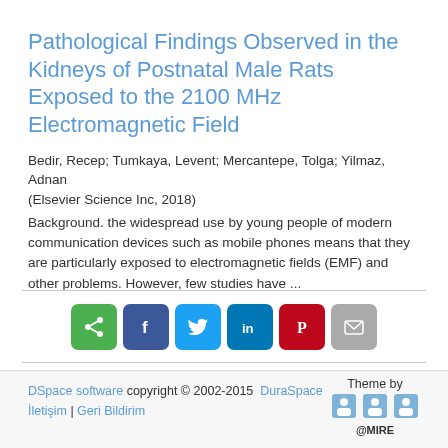Pathological Findings Observed in the Kidneys of Postnatal Male Rats Exposed to the 2100 MHz Electromagnetic Field
Bedir, Recep; Tumkaya, Levent; Mercantepe, Tolga; Yilmaz, Adnan
(Elsevier Science Inc, 2018)
Background. the widespread use by young people of modern communication devices such as mobile phones means that they are particularly exposed to electromagnetic fields (EMF) and other problems. However, few studies have ...
[Figure (infographic): Social sharing buttons: share, Facebook, Twitter, LinkedIn, Pinterest, email]
DSpace software copyright © 2002-2015  DuraSpace
İletişim | Geri Bildirim
Theme by @MIRE